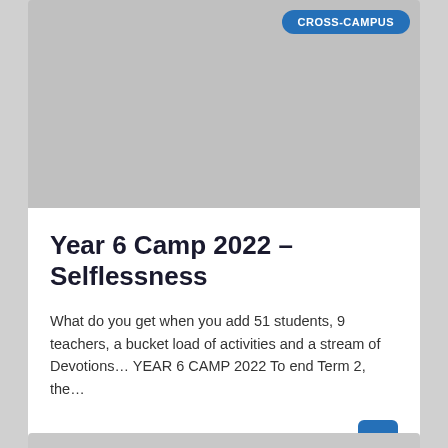[Figure (photo): Gray placeholder image area for a school camp photo]
Year 6 Camp 2022 – Selflessness
What do you get when you add 51 students, 9 teachers, a bucket load of activities and a stream of Devotions… YEAR 6 CAMP 2022 To end Term 2, the…
August 8, 2022